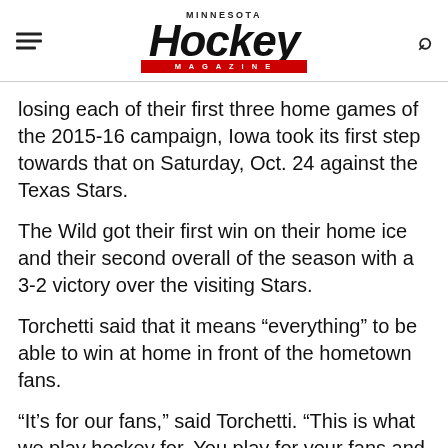Minnesota Hockey Magazine
losing each of their first three home games of the 2015-16 campaign, Iowa took its first step towards that on Saturday, Oct. 24 against the Texas Stars.
The Wild got their first win on their home ice and their second overall of the season with a 3-2 victory over the visiting Stars.
Torchetti said that it means „verything” to be able to win at home in front of the hometown fans.
“It’s for our fans,” said Torchetti. “This is what we play hockey for. You play for your fans and they deserve it. We could easily have three wins at home by now but we are what we are and we had to realize that and we’ve just got to keep winning and